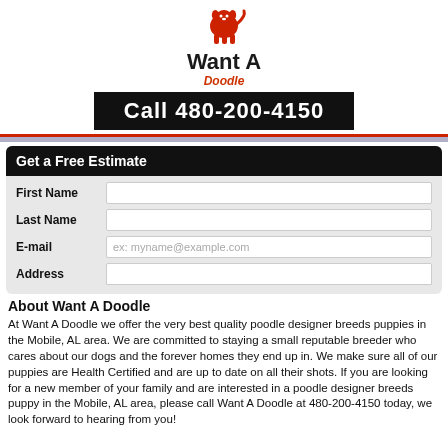[Figure (logo): Want A Doodle logo with red dog icon, brand name 'Want A' in bold dark text and 'Doodle' in red italic]
Call 480-200-4150
Get a Free Estimate
First Name
Last Name
E-mail
Address
About Want A Doodle
At Want A Doodle we offer the very best quality poodle designer breeds puppies in the Mobile, AL area. We are committed to staying a small reputable breeder who cares about our dogs and the forever homes they end up in. We make sure all of our puppies are Health Certified and are up to date on all their shots. If you are looking for a new member of your family and are interested in a poodle designer breeds puppy in the Mobile, AL area, please call Want A Doodle at 480-200-4150 today, we look forward to hearing from you!